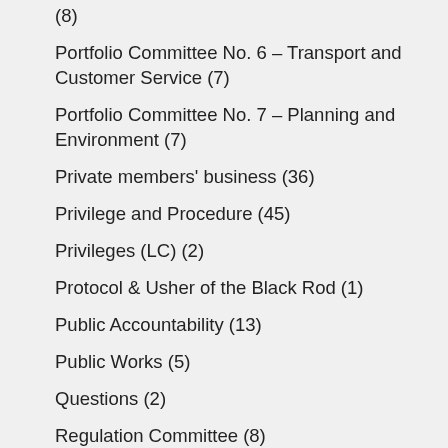(8)
Portfolio Committee No. 6 – Transport and Customer Service (7)
Portfolio Committee No. 7 – Planning and Environment (7)
Private members' business (36)
Privilege and Procedure (45)
Privileges (LC) (2)
Protocol & Usher of the Black Rod (1)
Public Accountability (13)
Public Works (5)
Questions (2)
Regulation Committee (8)
Select Committee on Animal Consulted…